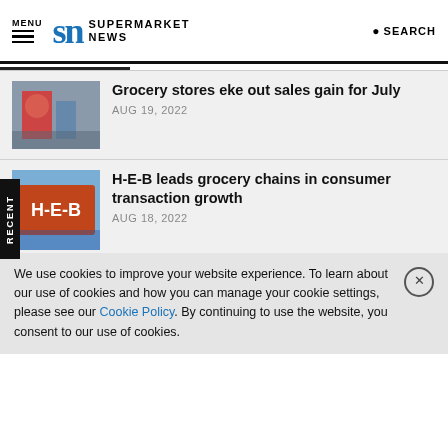MENU | SN SUPERMARKET NEWS | SEARCH
Grocery stores eke out sales gain for July — AUG 19, 2022
H-E-B leads grocery chains in consumer transaction growth — AUG 18, 2022
Lower cost trumps speed for grocery delivery customers
We use cookies to improve your website experience. To learn about our use of cookies and how you can manage your cookie settings, please see our Cookie Policy. By continuing to use the website, you consent to our use of cookies.